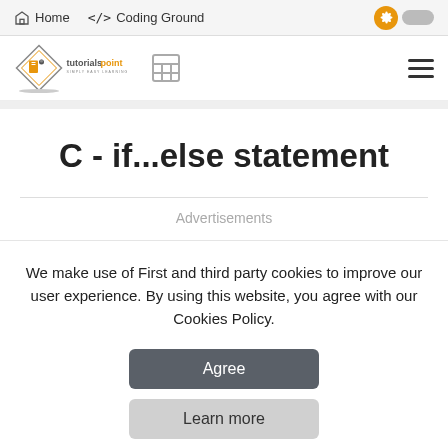Home   </> Coding Ground
[Figure (logo): tutorialspoint SIMPLY EASY LEARNING logo with diamond shape and book icon]
C - if...else statement
Advertisements
We make use of First and third party cookies to improve our user experience. By using this website, you agree with our Cookies Policy.
Agree
Learn more